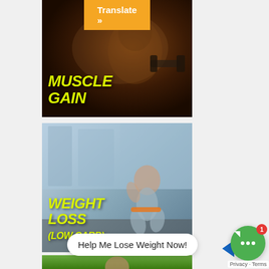[Figure (illustration): Orange 'Translate »' button at top of fitness app screenshot]
[Figure (photo): Muscular man holding dumbbell with 'MUSCLE GAIN' text overlay in yellow-green on dark background]
[Figure (photo): Woman doing squats in gym with 'WEIGHT LOSS (LOW CARB)' text overlay in yellow-green]
[Figure (photo): Partial image of man outdoors among trees at bottom]
Help Me Lose Weight Now!
Privacy · Terms